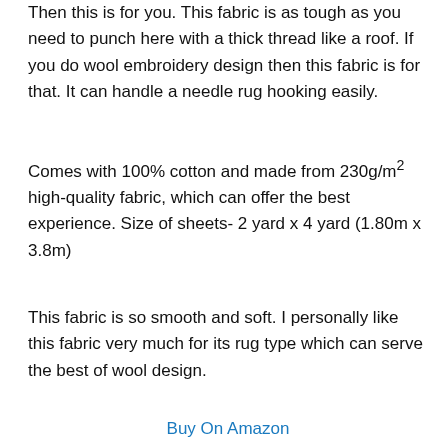Then this is for you. This fabric is as tough as you need to punch here with a thick thread like a roof. If you do wool embroidery design then this fabric is for that. It can handle a needle rug hooking easily.
Comes with 100% cotton and made from 230g/m² high-quality fabric, which can offer the best experience. Size of sheets- 2 yard x 4 yard (1.80m x 3.8m)
This fabric is so smooth and soft. I personally like this fabric very much for its rug type which can serve the best of wool design.
Buy On Amazon
Final Verdict- Best Fabric For